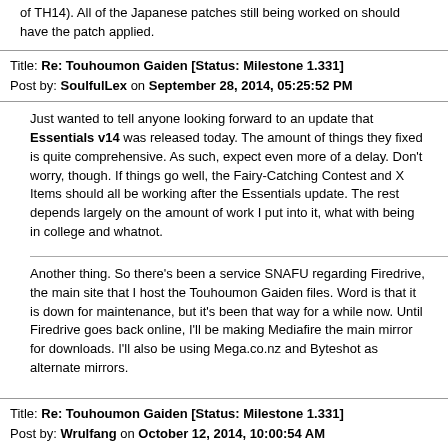of TH14). All of the Japanese patches still being worked on should have the patch applied.
Title: Re: Touhoumon Gaiden [Status: Milestone 1.331]
Post by: SoulfulLex on September 28, 2014, 05:25:52 PM
Just wanted to tell anyone looking forward to an update that Essentials v14 was released today. The amount of things they fixed is quite comprehensive. As such, expect even more of a delay. Don't worry, though. If things go well, the Fairy-Catching Contest and X Items should all be working after the Essentials update. The rest depends largely on the amount of work I put into it, what with being in college and whatnot.
Another thing. So there's been a service SNAFU regarding Firedrive, the main site that I host the Touhoumon Gaiden files. Word is that it is down for maintenance, but it's been that way for a while now. Until Firedrive goes back online, I'll be making Mediafire the main mirror for downloads. I'll also be using Mega.co.nz and Byteshot as alternate mirrors.
Title: Re: Touhoumon Gaiden [Status: Milestone 1.331]
Post by: Wrulfang on October 12, 2014, 10:00:54 AM
The game is nice, its a bit weird on the stats table but it plays nice